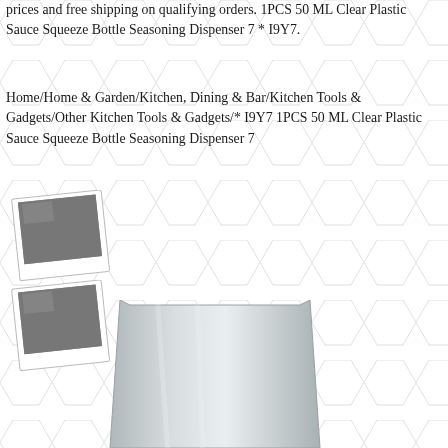prices and free shipping on qualifying orders. 1PCS 50 ML Clear Plastic Sauce Squeeze Bottle Seasoning Dispenser 7 * I9Y7.
Home/Home & Garden/Kitchen, Dining & Bar/Kitchen Tools & Gadgets/Other Kitchen Tools & Gadgets/* I9Y7 1PCS 50 ML Clear Plastic Sauce Squeeze Bottle Seasoning Dispenser 7
[Figure (photo): Polaroid-style thumbnail photo placeholder (grey square)]
[Figure (photo): Polaroid-style thumbnail photo placeholder (grey square)]
[Figure (photo): Photo of a clear plastic squeeze bottle (bottom portion visible, light grey/silver color)]